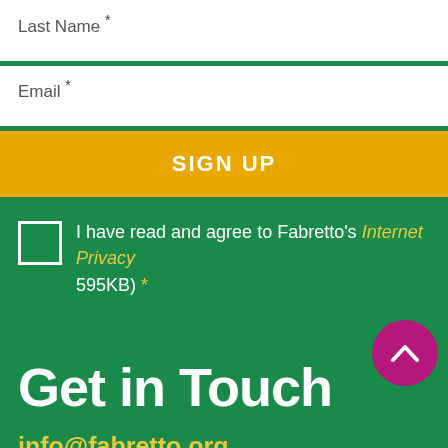Last Name *
Email *
SIGN UP
I have read and agree to Fabretto's Internet Privacy ... 595KB) *
Get in Touch
info@fabretto.org
United States: +1 (703) 525...